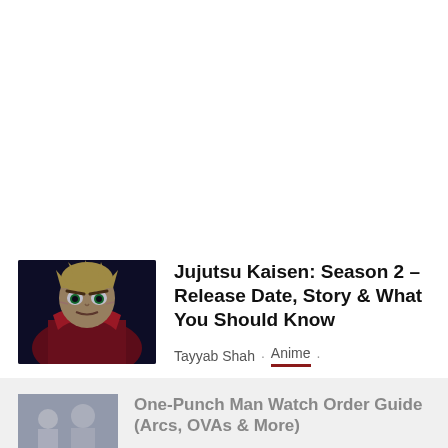[Figure (illustration): Thumbnail image of Jujutsu Kaisen anime character (Yuji Itadori) with spiky blond hair, wearing a dark outfit with red scarf/collar, angry expression, dark moody background.]
Jujutsu Kaisen: Season 2 – Release Date, Story & What You Should Know
Tayyab Shah · Anime · August 11, 2022
[Figure (illustration): Partially visible thumbnail image for One-Punch Man article, showing anime characters in a darkened/faded style.]
One-Punch Man Watch Order Guide (Arcs, OVAs & More)